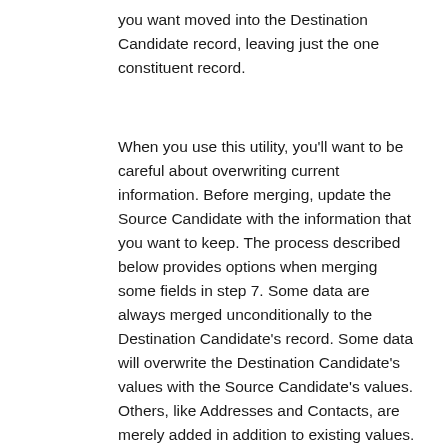you want moved into the Destination Candidate record, leaving just the one constituent record.
When you use this utility, you'll want to be careful about overwriting current information. Before merging, update the Source Candidate with the information that you want to keep. The process described below provides options when merging some fields in step 7. Some data are always merged unconditionally to the Destination Candidate's record. Some data will overwrite the Destination Candidate's values with the Source Candidate's values. Others, like Addresses and Contacts, are merely added in addition to existing values.